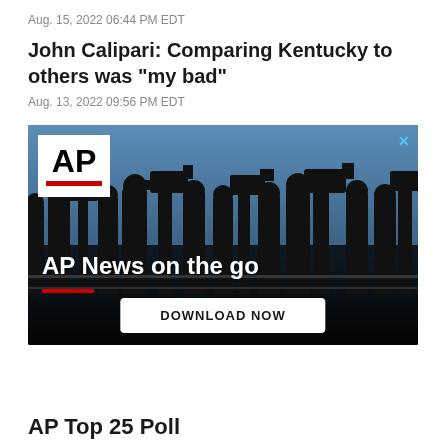Aug. 15, 2022 06:44 PM EDT
John Calipari: Comparing Kentucky to others was "my bad"
Aug. 13, 2022 09:56 PM EDT
[Figure (photo): AP News advertisement showing silhouettes of camera crews and journalists against a blue sky, with AP logo, text 'AP News on the go' and a 'DOWNLOAD NOW' button]
AP Top 25 Poll...